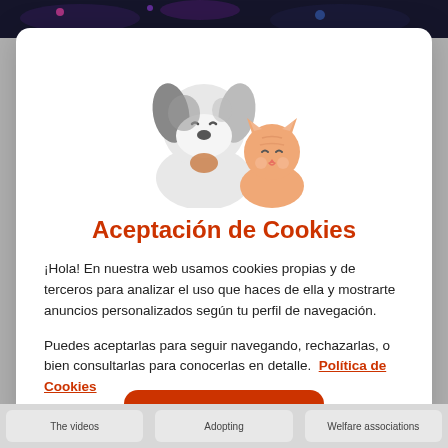[Figure (illustration): Cartoon dog and cat illustration. A gray and white beagle-style puppy on the left and an orange tabby kitten on the right, both smiling.]
Aceptación de Cookies
¡Hola! En nuestra web usamos cookies propias y de terceros para analizar el uso que haces de ella y mostrarte anuncios personalizados según tu perfil de navegación.
Puedes aceptarlas para seguir navegando, rechazarlas, o bien consultarlas para conocerlas en detalle.  Política de Cookies